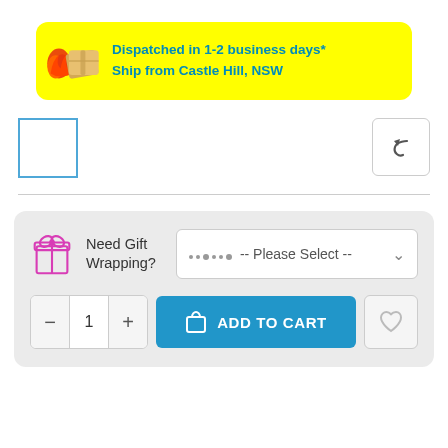[Figure (infographic): Yellow dispatch banner with flame/package icon and teal bold text: Dispatched in 1-2 business days* / Ship from Castle Hill, NSW]
[Figure (screenshot): UI section with blue-outlined checkbox placeholder on left and grey back button with undo arrow icon on right]
[Figure (screenshot): Gift wrapping section with pink gift icon, 'Need Gift Wrapping?' label, dropdown showing '-- Please Select --' with loading dots and chevron, quantity selector showing minus/1/plus, blue ADD TO CART button, and grey heart/wishlist button]